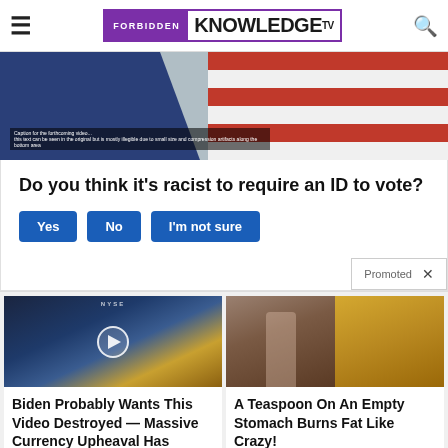FORBIDDEN KNOWLEDGE TV
[Figure (photo): Partial view of voting/political items with blue and red/white stripe elements resembling US flag]
Do you think it's racist to require an ID to vote?
Yes | No | I'm not sure
Promoted
[Figure (photo): Video thumbnail showing man being interviewed at NYSE with play button overlay]
Biden Probably Wants This Video Destroyed — Massive Currency Upheaval Has Started
Watch The Video
[Figure (photo): Two photos: athletic woman in white top, and a pile of yellow/golden powder (supplement)]
A Teaspoon On An Empty Stomach Burns Fat Like Crazy!
Find Out More